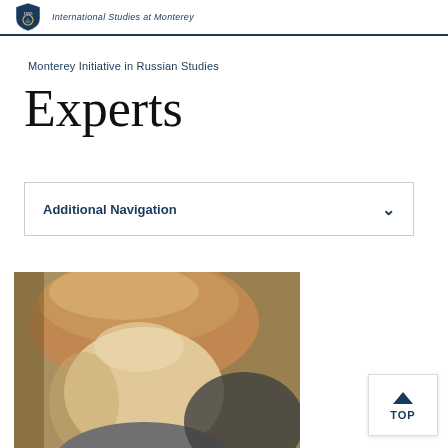International Studies at Monterey
Monterey Initiative in Russian Studies
Experts
Additional Navigation
[Figure (photo): Headshot photo of a woman with auburn/blonde hair pulled back, looking slightly downward, against a blurred background]